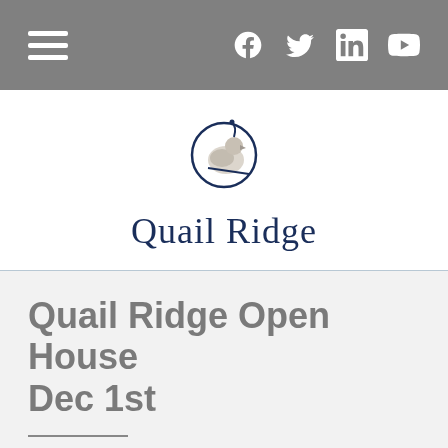Navigation bar with hamburger menu and social icons (Facebook, Twitter, LinkedIn, YouTube)
[Figure (logo): Quail Ridge logo: a quail bird inside a circular arc, with text 'Quail Ridge' in navy serif font below]
Quail Ridge Open House Dec 1st
Share buttons row: Facebook, Twitter, Google+, Email, LinkedIn, Pinterest